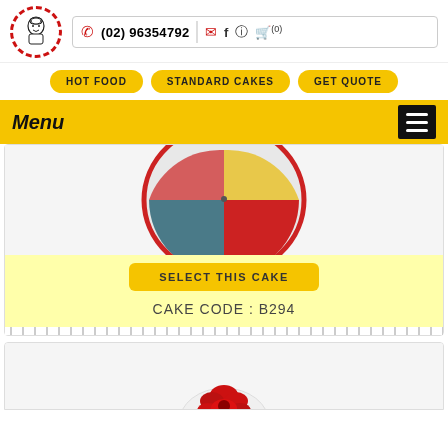Logo | (02) 96354792 | mail | facebook | instagram | cart (0)
HOT FOOD  STANDARD CAKES  GET QUOTE
Menu
[Figure (photo): Top view of a colorful cake with red, yellow, and teal/blue sections visible]
SELECT THIS CAKE
CAKE CODE : B294
[Figure (photo): Partial view of another cake with red floral decoration, bottom of page]